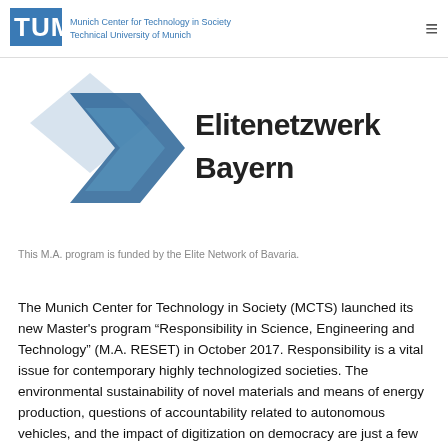Munich Center for Technology in Society Technical University of Munich
[Figure (logo): Elitenetzwerk Bayern logo with blue arrow/diamond shape and text 'Elitenetzwerk Bayern']
This M.A. program is funded by the Elite Network of Bavaria.
The Munich Center for Technology in Society (MCTS) launched its new Master's program “Responsibility in Science, Engineering and Technology” (M.A. RESET) in October 2017. Responsibility is a vital issue for contemporary highly technologized societies. The environmental sustainability of novel materials and means of energy production, questions of accountability related to autonomous vehicles, and the impact of digitization on democracy are just a few examples that illustrate a growing need to address questions of responsible research and innovation as well as